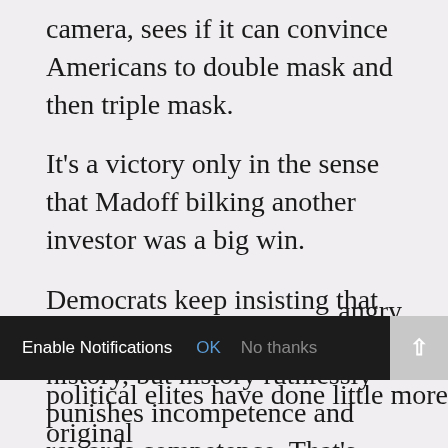camera, sees if it can convince Americans to double mask and then triple mask.
It’s a victory only in the sense that Madoff bilking another investor was a big win.
Democrats keep insisting that they’re on the right side of history, but history ruthlessly punishes incompetence and rewards competence. That’s why America became a winning proposition.
The world is filled with backward dictatorships run by inept elites who spend all day partying and broadcasting propaganda at an angry
lefty
political elites have done little more original
[Figure (screenshot): Dark notification bar overlay at bottom of page with 'Enable Notifications', 'OK' (blue), 'No thanks' (grey) options, and a grey scroll-to-top arrow button on the right.]